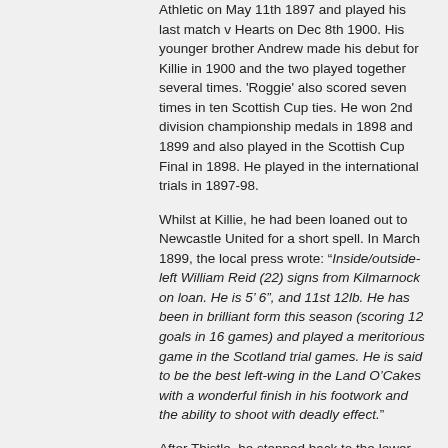Athletic on May 11th 1897 and played his last match v Hearts on Dec 8th 1900. His younger brother Andrew made his debut for Killie in 1900 and the two played together several times. 'Roggie' also scored seven times in ten Scottish Cup ties. He won 2nd division championship medals in 1898 and 1899 and also played in the Scottish Cup Final in 1898. He played in the international trials in 1897-98.
Whilst at Killie, he had been loaned out to Newcastle United for a short spell. In March 1899, the local press wrote: "Inside/outside-left William Reid (22) signs from Kilmarnock on loan. He is 5' 6", and 11st 12lb. He has been in brilliant form this season (scoring 12 goals in 16 games) and played a meritorious game in the Scotland trial games. He is said to be the best left-wing in the Land O'Cakes with a wonderful finish in his footwork and the ability to shoot with deadly effect."
After Thistle, he stepped back to the lower leagues with Galston of Ayrshire & Thornhill of Dumfries-shire.
Daily Record 2/2/1914 has a piece about the 14th annual dinner of the Minerva "Ancients" in White's